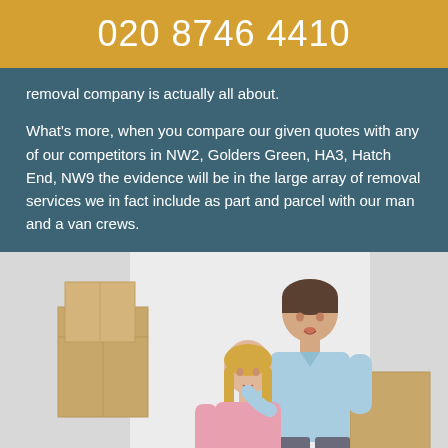020 8746 4410
removal company is actually all about.
What's more, when you compare our given quotes with any of our competitors in NW2, Golders Green, HA3, Hatch End, NW9 the evidence will be in the large array of removal services we in fact include as part and parcel with our man and a van crews.
[Figure (photo): A smiling couple standing in front of cardboard moving boxes. The man is wearing a light blue polo shirt, the woman is wearing a pink top. They appear happy, suggesting a successful move.]